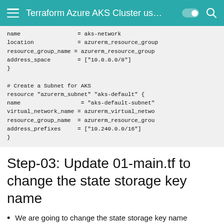Terraform Azure AKS Cluster us…
name = aks-network
    location = azurerm_resource_group
    resource_group_name = azurerm_resource_group
    address_space = ["10.0.0.0/8"]
  }

  # Create a Subnet for AKS
  resource "azurerm_subnet" "aks-default" {
    name = "aks-default-subnet"
    virtual_network_name = azurerm_virtual_netwo
    resource_group_name = azurerm_resource_grou
    address_prefixes = ["10.240.0.0/16"]
  }
Step-03: Update 01-main.tf to change the state storage key name
We are going to change the state storage key name